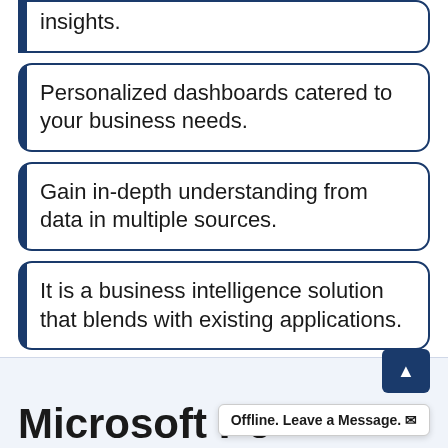insights.
Personalized dashboards catered to your business needs.
Gain in-depth understanding from data in multiple sources.
It is a business intelligence solution that blends with existing applications.
Generate new Power BI customer success stories for your business.
Microsoft Po
Offline. Leave a Message.